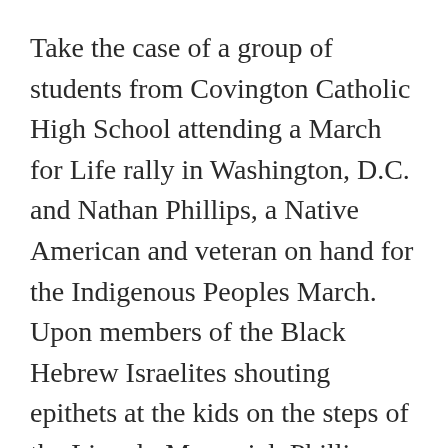Take the case of a group of students from Covington Catholic High School attending a March for Life rally in Washington, D.C. and Nathan Phillips, a Native American and veteran on hand for the Indigenous Peoples March. Upon members of the Black Hebrew Israelites shouting epithets at the kids on the steps of the Lincoln Memorial, Phillips interceded to try to diffuse the situation, singing and drumming. The students, meanwhile, several wearing MAGA hats, mocked Phillips, with one boy, Nick Sandmann, standing face-to-face to him and